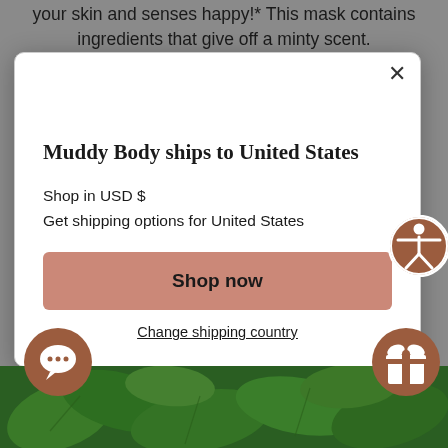your skin and senses happy!* This mask contains ingredients that give off a minty scent.
[Figure (screenshot): Modal dialog: 'Muddy Body ships to United States' with Shop in USD $, Get shipping options for United States, Shop now button, Change shipping country link, and accessibility icon]
Muddy Body ships to United States
Shop in USD $
Get shipping options for United States
Shop now
Change shipping country
[Figure (photo): Close-up photo of green mint leaves at the bottom of the page]